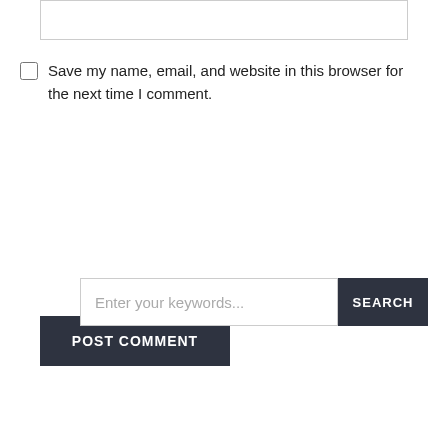(text area box at top)
Save my name, email, and website in this browser for the next time I comment.
POST COMMENT
Enter your keywords...
SEARCH